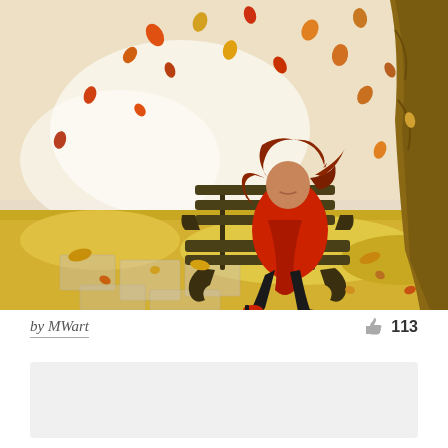[Figure (illustration): Digital illustration of a young woman with flowing red-brown hair wearing a red jacket and black tights, sitting on a dark park bench. Autumn leaves in orange, yellow, red, and brown tones fall around her. A large tree trunk is visible on the right. The ground is covered with golden fallen leaves and stone pavement.]
by MWart
113